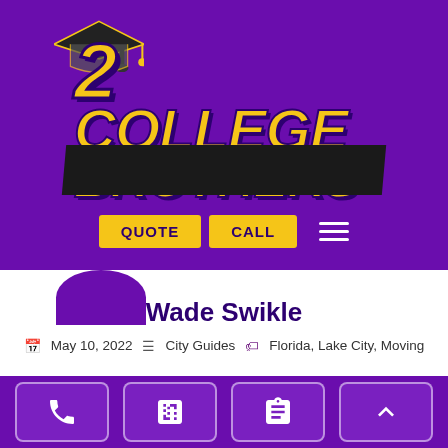[Figure (logo): 2 College Brothers moving company logo with graduation cap, yellow text on purple background]
Wade Swikle
May 10, 2022   City Guides   Florida, Lake City, Moving
LAKE CITY, FL [2022] ❤
[Figure (infographic): Bottom toolbar with phone, calculator, clipboard, and up-arrow icons on purple background]